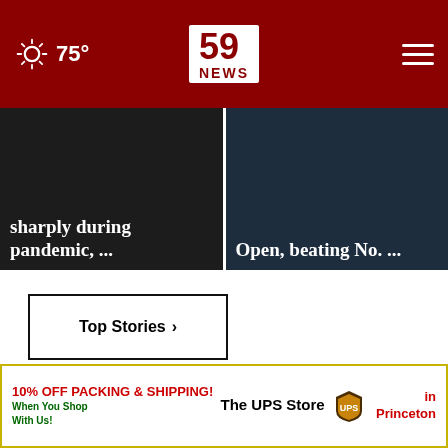75° | 59 NEWS
sharply during pandemic, ...
Open, beating No. ...
Top Stories ›
[Figure (photo): Woman holding a dark credit card over one eye against a teal background]
[Figure (advertisement): 10% OFF PACKING & SHIPPING! When You Shop With Us! The UPS Store in Princeton]